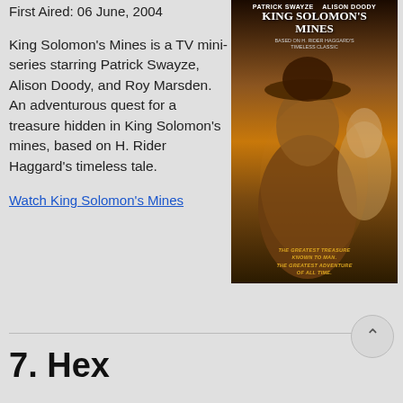First Aired: 06 June, 2004
[Figure (photo): Movie poster for King Solomon's Mines featuring Patrick Swayze and Alison Doody. Text on poster: PATRICK SWAYZE ALISON DOODY, KING SOLOMON'S MINES, BASED ON H. RIDER HAGGARD'S TIMELESS CLASSIC, THE GREATEST TREASURE KNOWN TO MAN. THE GREATEST ADVENTURE OF ALL TIME.]
King Solomon's Mines is a TV mini-series starring Patrick Swayze, Alison Doody, and Roy Marsden. An adventurous quest for a treasure hidden in King Solomon's mines, based on H. Rider Haggard's timeless tale.
Watch King Solomon's Mines
7. Hex